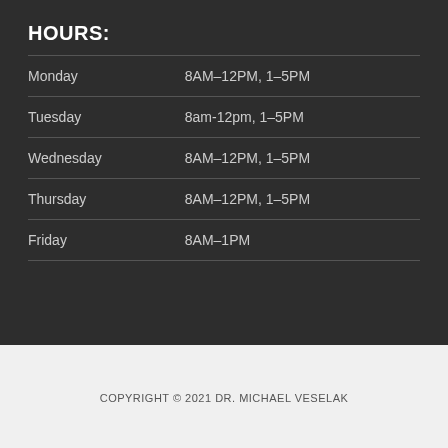HOURS:
| Day | Hours |
| --- | --- |
| Monday | 8AM–12PM, 1–5PM |
| Tuesday | 8am-12pm, 1–5PM |
| Wednesday | 8AM–12PM, 1–5PM |
| Thursday | 8AM–12PM, 1–5PM |
| Friday | 8AM–1PM |
COPYRIGHT © 2021 DR. MICHAEL VESELAK